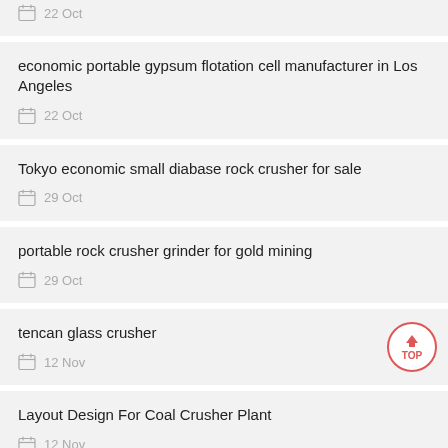economic portable gypsum flotation cell manufacturer in Los Angeles
22 Oct
Tokyo economic small diabase rock crusher for sale
29 Oct
portable rock crusher grinder for gold mining
29 Oct
tencan glass crusher
12 Nov
Layout Design For Coal Crusher Plant
12 Nov